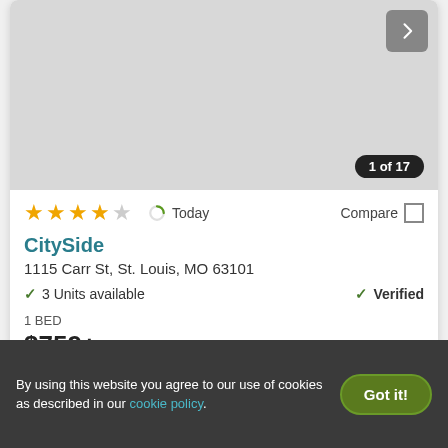[Figure (photo): Gray placeholder image for property listing with navigation arrow button and photo counter '1 of 17']
★★★★☆   Today   Compare
CitySide
1115 Carr St, St. Louis, MO 63101
✓ 3 Units available   ✓ Verified
1 BED
$759+
View Details   Contact Property
By using this website you agree to our use of cookies as described in our cookie policy.